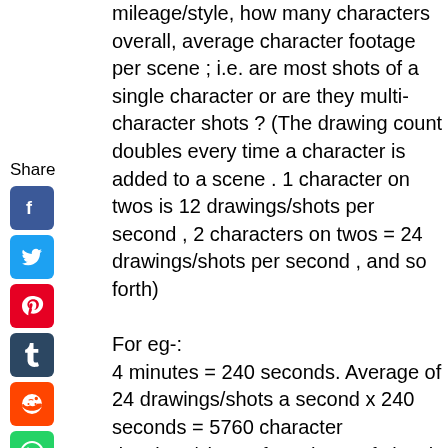mileage/style, how many characters overall, average character footage per scene ; i.e. are most shots of a single character or are they multi-character shots ? (The drawing count doubles every time a character is added to a scene . 1 character on twos is 12 drawings/shots per second , 2 characters on twos = 24 drawings/shots per second , and so forth)
For eg-:
4 minutes = 240 seconds. Average of 24 drawings/shots a second x 240 seconds = 5760 character drawings/shots. If you have efx levels those have to be animated too, so there may be more drawings than the 5760 character drawings/shots.